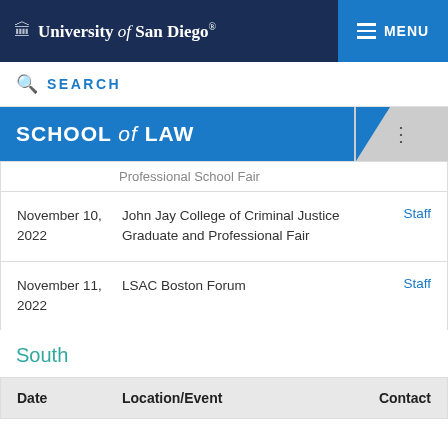University of San Diego® — School of Law
SEARCH
SCHOOL of LAW
Professional School Fair
| Date | Location/Event | Contact |
| --- | --- | --- |
| November 10, 2022 | John Jay College of Criminal Justice Graduate and Professional Fair | Staff |
| November 11, 2022 | LSAC Boston Forum | Staff |
South
| Date | Location/Event | Contact |
| --- | --- | --- |